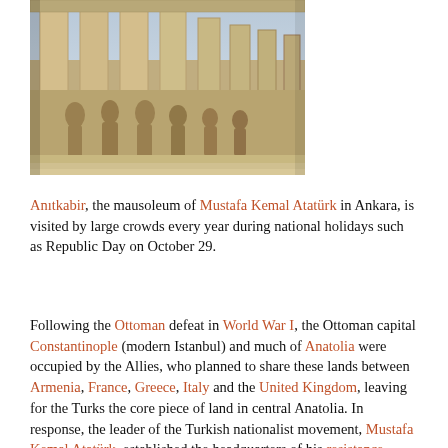[Figure (photo): Photograph of Anıtkabir (mausoleum of Mustafa Kemal Atatürk) in Ankara, showing large stone columns and a relief sculpture of figures carved into stone.]
Anıtkabir, the mausoleum of Mustafa Kemal Atatürk in Ankara, is visited by large crowds every year during national holidays such as Republic Day on October 29.
Following the Ottoman defeat in World War I, the Ottoman capital Constantinople (modern Istanbul) and much of Anatolia were occupied by the Allies, who planned to share these lands between Armenia, France, Greece, Italy and the United Kingdom, leaving for the Turks the core piece of land in central Anatolia. In response, the leader of the Turkish nationalist movement, Mustafa Kemal Atatürk, established the headquarters of his resistance movement in Angora in 1920. After the Turkish War of Independence was won and the Treaty of Sèvres was superseded by the Treaty of Lausanne (1923), the Turkish nationalists replaced the Ottoman Empire with the Republic of Turkey on 29 October 1923. A few days earlier, Angora had officially replaced Constantinople as the new Turkish capital city, on 13 October 1923